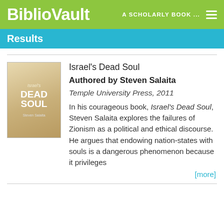BiblioVault  A SCHOLARLY BOOK ...
Results
[Figure (illustration): Book cover of Israel's Dead Soul with a tan/gold background showing the title in white text]
Israel's Dead Soul
Authored by Steven Salaita
Temple University Press, 2011
In his courageous book, Israel's Dead Soul, Steven Salaita explores the failures of Zionism as a political and ethical discourse. He argues that endowing nation-states with souls is a dangerous phenomenon because it privileges
[more]